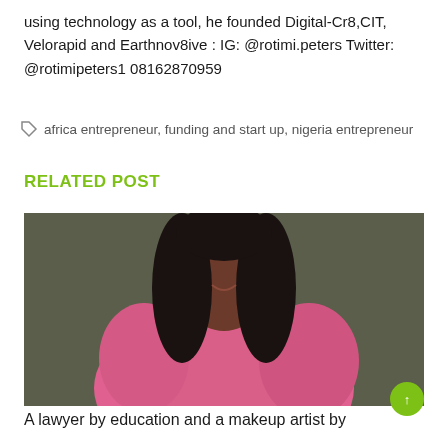using technology as a tool, he founded Digital-Cr8,CIT, Velorapid and Earthnov8ive : IG: @rotimi.peters Twitter: @rotimipeters1 08162870959
africa entrepreneur, funding and start up, nigeria entrepreneur
RELATED POST
[Figure (photo): Portrait photo of a woman wearing a pink long-sleeve dress with flowing sleeves, smiling, against a dark olive/grey background. She has long straight dark hair.]
A lawyer by education and a makeup artist by